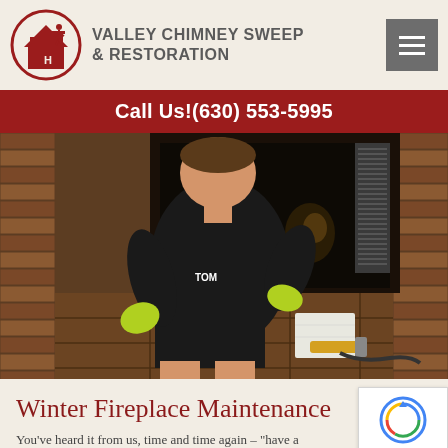Valley Chimney Sweep & Restoration
Call Us!(630) 553-5995
[Figure (photo): A chimney sweep technician named Tom, wearing a black uniform and yellow-green gloves, kneeling in front of a brick fireplace and working on it. Tools are visible on the brick hearth.]
Winter Fireplace Maintenance
You've heard it from us, time and time again – "have a